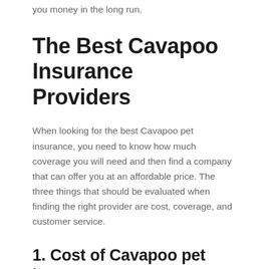you money in the long run.
The Best Cavapoo Insurance Providers
When looking for the best Cavapoo pet insurance, you need to know how much coverage you will need and then find a company that can offer you at an affordable price. The three things that should be evaluated when finding the right provider are cost, coverage, and customer service.
1. Cost of Cavapoo pet insurance
When looking at the cost of Cavapoo pet insurance, you need to consider how much money